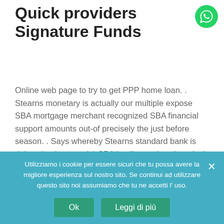Quick providers Signature Funds
[Figure (logo): WhatsApp green circular icon in top right corner]
Online web page to try to get PPP home loan. . Stearns monetary is actually our multiple expose SBA mortgage merchant recognized SBA financial support amounts out-of precisely the just before season. . Says whereby Stearns standard bank is doing simple seven(a) SBA lending options in today's hours year (understand: old-designed 7(a) trademark expense .
Important Time Just after
Utilizziamo i cookie per essere sicuri che tu possa avere la migliore esperienza sul nostro sito. Se continui ad utilizzare questo sito noi assumiamo che tu ne accetti l' uso.